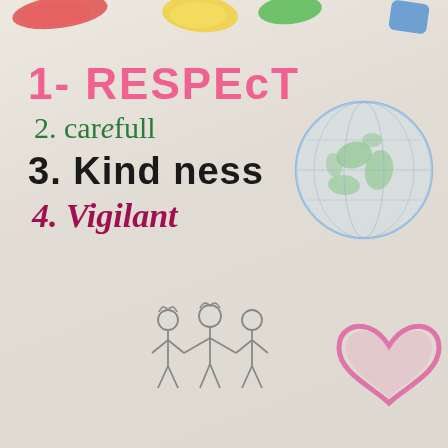[Figure (illustration): Colorful hand-drawn decorations at the top of a child's poster — includes colorful shapes and drawings]
1- RESPECT
2. carefull
3. Kindness
4. Vigilant
[Figure (illustration): Hand-drawn globe/earth on the right side]
[Figure (illustration): Hand-drawn stick figures of three children holding hands at the bottom center]
[Figure (illustration): Hand-drawn pink heart outline at the bottom right]